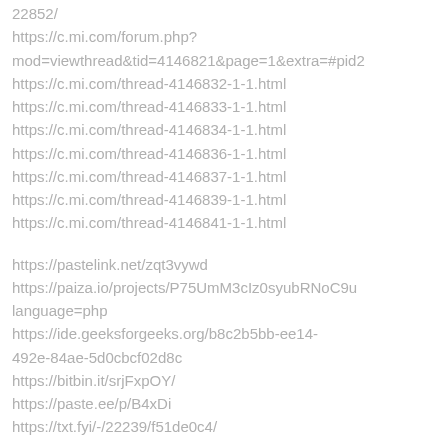22852/
https://c.mi.com/forum.php?mod=viewthread&tid=4146821&page=1&extra=#pid2
https://c.mi.com/thread-4146832-1-1.html
https://c.mi.com/thread-4146833-1-1.html
https://c.mi.com/thread-4146834-1-1.html
https://c.mi.com/thread-4146836-1-1.html
https://c.mi.com/thread-4146837-1-1.html
https://c.mi.com/thread-4146839-1-1.html
https://c.mi.com/thread-4146841-1-1.html
https://pastelink.net/zqt3vywd
https://paiza.io/projects/P75UmM3cIz0syubRNoC9u language=php
https://ide.geeksforgeeks.org/b8c2b5bb-ee14-492e-84ae-5d0cbcf02d8c
https://bitbin.it/srjFxpOY/
https://paste.ee/p/B4xDi
https://txt.fyi/-/22239/f51de0c4/